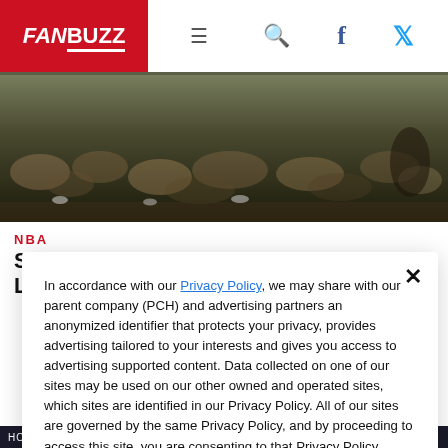FANBUZZ
[Figure (photo): Crowd of people sitting courtside at a basketball game, viewed from above, slightly blurry vintage footage]
NBA
Sean Elliott's “Memorial Day Miracle” Launched San Antonio’s Dynasty
In accordance with our Privacy Policy, we may share with our parent company (PCH) and advertising partners an anonymized identifier that protects your privacy, provides advertising tailored to your interests and gives you access to advertising supported content. Data collected on one of our sites may be used on our other owned and operated sites, which sites are identified in our Privacy Policy. All of our sites are governed by the same Privacy Policy, and by proceeding to access this site, you are consenting to that Privacy Policy.